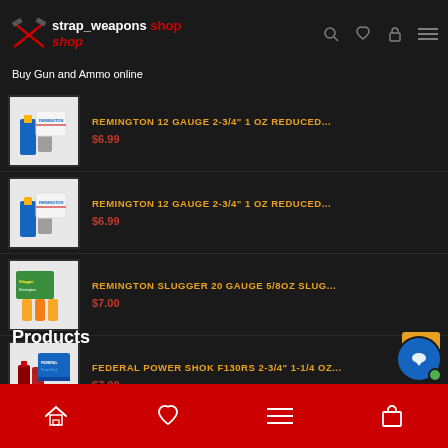[Figure (logo): Strap Weapons Shop logo with crossed pistols icon and red/white text]
Buy Gun and Ammo online
[Figure (photo): Product thumbnail: Remington 12 gauge shotgun shells]
REMINGTON 12 GAUGE 2-3/4" 1 OZ REDUCED...
$6.99
[Figure (photo): Product thumbnail: Remington 12 gauge shotgun shells]
REMINGTON 12 GAUGE 2-3/4" 1 OZ REDUCED...
$6.99
[Figure (photo): Product thumbnail: Remington Slugger 20 gauge box]
REMINGTON SLUGGER 20 GAUGE 5/8OZ SLUG...
$7.00
[Figure (photo): Product thumbnail: Federal Power Shok shotgun shells box]
FEDERAL POWER SHOK F130RS 2-3/4" 1-1/4 OZ...
$7.00
Products